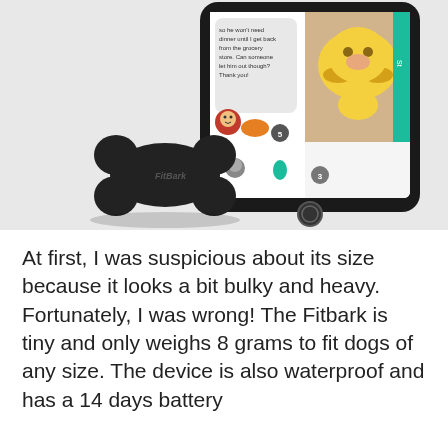[Figure (photo): A black FitBark dog activity tracker device (bone-shaped, labeled 'FitBark') in front of a smartphone showing a social app with a photo of a puppy (Labrador) and a chat message about letting a dog out. The screen shows app notifications and a teal/green accent color.]
At first, I was suspicious about its size because it looks a bit bulky and heavy. Fortunately, I was wrong! The Fitbark is tiny and only weighs 8 grams to fit dogs of any size. The device is also waterproof and has a 14 days battery